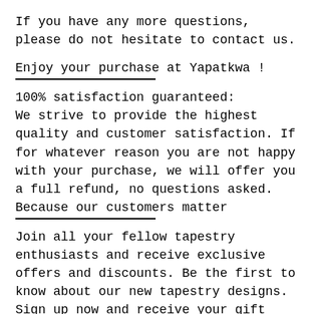If you have any more questions, please do not hesitate to contact us.
Enjoy your purchase at Yapatkwa !
100% satisfaction guaranteed:
We strive to provide the highest quality and customer satisfaction. If for whatever reason you are not happy with your purchase, we will offer you a full refund, no questions asked. Because our customers matter
Join all your fellow tapestry enthusiasts and receive exclusive offers and discounts. Be the first to know about our new tapestry designs. Sign up now and receive your gift immediately:
https://...